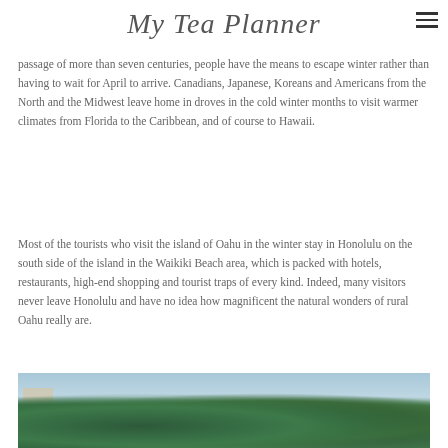My Tea Planner
passage of more than seven centuries, people have the means to escape winter rather than having to wait for April to arrive. Canadians, Japanese, Koreans and Americans from the North and the Midwest leave home in droves in the cold winter months to visit warmer climates from Florida to the Caribbean, and of course to Hawaii.
Most of the tourists who visit the island of Oahu in the winter stay in Honolulu on the south side of the island in the Waikiki Beach area, which is packed with hotels, restaurants, high-end shopping and tourist traps of every kind. Indeed, many visitors never leave Honolulu and have no idea how magnificent the natural wonders of rural Oahu really are.
[Figure (photo): Outdoor tropical photo showing lush green trees and foliage with a building visible and blue sky in the background, appearing to be a scene from Hawaii.]